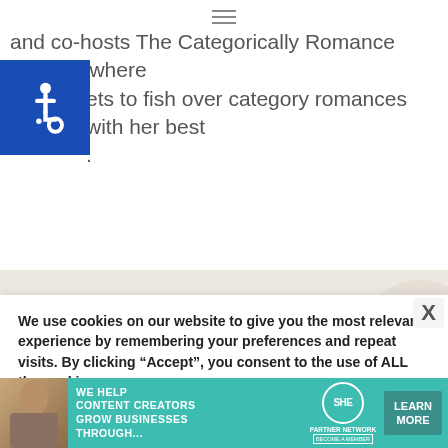≡ (hamburger menu icon)
and co-hosts The Categorically Romance podcast where …ets to fish over category romances with her best ….
[Figure (illustration): Blue square accessibility icon showing a person in wheelchair (universal accessibility symbol)]
[Figure (illustration): Beige/tan background section with decorative abstract blob shapes in lighter tones]
We use cookies on our website to give you the most relevant experience by remembering your preferences and repeat visits. By clicking “Accept”, you consent to the use of ALL the cookies.
Do not sell my personal information.
[Figure (illustration): Advertisement banner: teal background with photo of woman, SHE Media Partner Network logo, text 'We help content creators grow businesses through...' and 'Learn More' button]